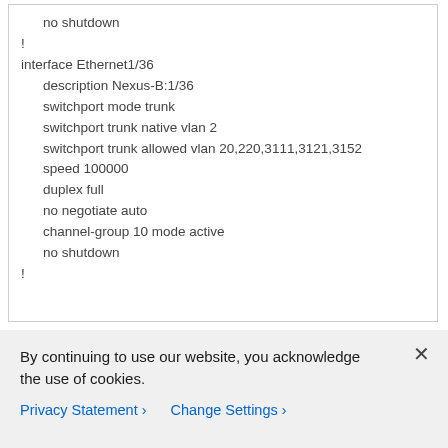no shutdown
!
interface Ethernet1/36
  description Nexus-B:1/36
  switchport mode trunk
  switchport trunk native vlan 2
  switchport trunk allowed vlan 20,220,3111,3121,3152
  speed 100000
  duplex full
  no negotiate auto
  channel-group 10 mode active
  no shutdown
!
By continuing to use our website, you acknowledge the use of cookies.
Privacy Statement > Change Settings >